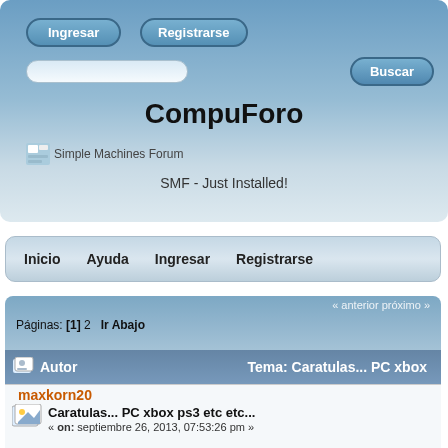[Figure (screenshot): Top banner with gradient blue background containing Ingresar and Registrarse buttons, a search input field, Buscar button, CompuForo title, Simple Machines Forum logo, and SMF - Just Installed text]
Ingresar
Registrarse
Buscar
CompuForo
[Figure (logo): Simple Machines Forum logo icon]
Simple Machines Forum
SMF - Just Installed!
Inicio   Ayuda   Ingresar   Registrarse
« anterior próximo »
Páginas: [1] 2  Ir Abajo
Autor   Tema: Caratulas... PC xbox
maxkorn20
Caratulas... PC xbox ps3 etc etc...
« on: septiembre 26, 2013, 07:53:26 pm »